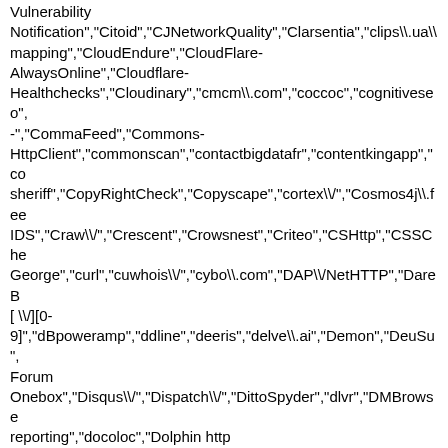Vulnerability Notification","Citoid","CJNetworkQuality","Clarsentia","clips\.ua\ mapping","CloudEndure","CloudFlare-AlwaysOnline","Cloudflare-Healthchecks","Cloudinary","cmcm\.com","coccoc","cognitiveseo",-","CommaFeed","Commons-HttpClient","commonscan","contactbigdatafr","contentkingapp","co sheriff","CopyRightCheck","Copyscape","cortex\/","Cosmos4j\.fee IDS","Craw\/","Crescent","Crowsnest","Criteo","CSHttp","CSSChe George","curl","cuwhois\/","cybo\.com","DAP\/NetHTTP","DareB [ \/][0-9]","dBpoweramp","ddline","deeris","delve\.ai","Demon","DeuSu", Forum Onebox","Disqus\/","Dispatch\/","DittoSpyder","dlvr","DMBrowse reporting","docoloc","Dolphin http client","DomainAppender","DomainLabz","Donuts Content Explorer","dotMailer content retrieval","dotSemantic","downforeveryoneorjustme","Download Wonder","downnotifier","DowntimeDetector","Drip","drupact","Dru \(\+http:\/\/drupal\.org\/\)","DTS Agent","dubaiindex","DuplexWeb-Google","DynatraceSynthetic","EARTHCOM","Easy-Thumb","EasyDL","Ebingbong","ec2linkfinder","eCairn-Grabber","eCatch","ECCP","eContext\/","Ecxi","EirGrabber","Elec Exractor","EMail Wolf","EmailWolf","Embarcadero","Embed PHP